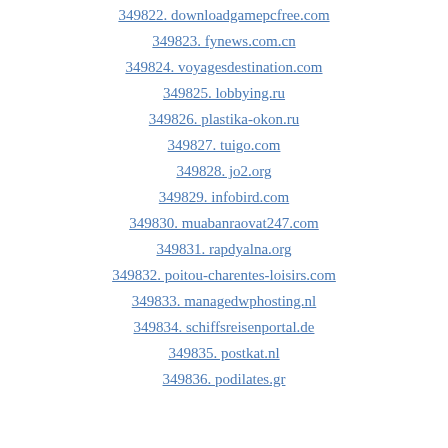349822. downloadgamepcfree.com
349823. fynews.com.cn
349824. voyagesdestination.com
349825. lobbying.ru
349826. plastika-okon.ru
349827. tuigo.com
349828. jo2.org
349829. infobird.com
349830. muabanraovat247.com
349831. rapdyalna.org
349832. poitou-charentes-loisirs.com
349833. managedwphosting.nl
349834. schiffsreisenportal.de
349835. postkat.nl
349836. podilates.gr